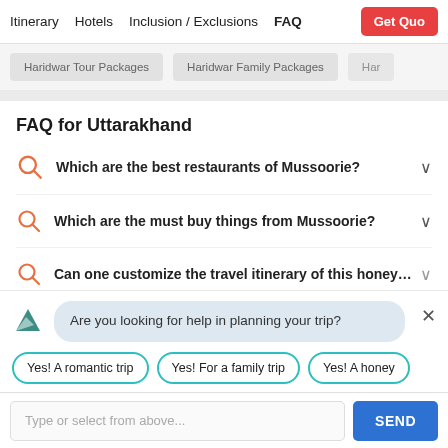Itinerary   Hotels   Inclusion / Exclusions   FAQ   Get Quo
Haridwar Tour Packages   Haridwar Family Packages   Har
FAQ for Uttarakhand
Which are the best restaurants of Mussoorie?
Which are the must buy things from Mussoorie?
Can one customize the travel itinerary of this honeymoon
Are you looking for help in planning your trip?
Yes! A romantic trip
Yes! For a family trip
Yes! A honey
Type or select from above...
SEND